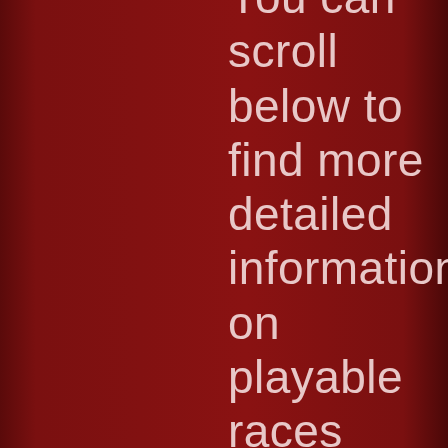You can scroll below to find more detailed information on playable races and classes from Dark